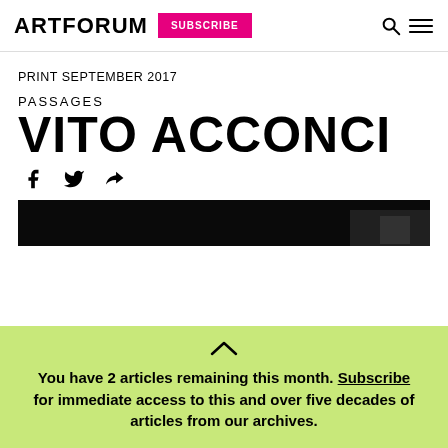ARTFORUM | SUBSCRIBE
PRINT SEPTEMBER 2017
PASSAGES
VITO ACCONCI
[Figure (photo): Dark horizontal image strip, partially visible photograph]
You have 2 articles remaining this month. Subscribe for immediate access to this and over five decades of articles from our archives.